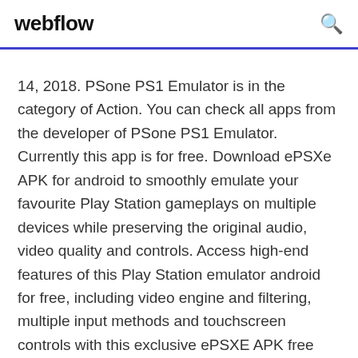webflow
14, 2018. PSone PS1 Emulator is in the category of Action. You can check all apps from the developer of PSone PS1 Emulator. Currently this app is for free. Download ePSXe APK for android to smoothly emulate your favourite Play Station gameplays on multiple devices while preserving the original audio, video quality and controls. Access high-end features of this Play Station emulator android for free, including video engine and filtering, multiple input methods and touchscreen controls with this exclusive ePSXE APK free download ... 16/08/2018 · ePSXe APK Android. is an emulator which you will not find in the play store but how can we let you miss out on such an app, hence